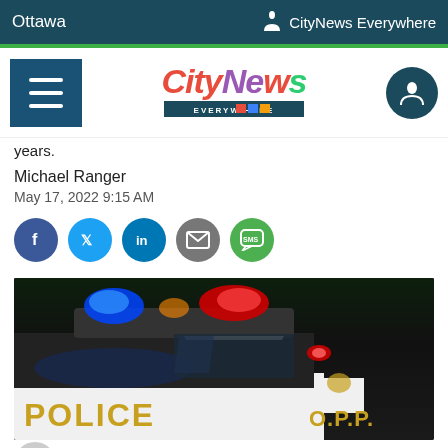Ottawa | CityNews Everywhere
[Figure (logo): CityNews Everywhere logo with hamburger menu and user account icon]
years.
Michael Ranger
May 17, 2022 9:15 AM
[Figure (infographic): Social share buttons: Facebook, Twitter, LinkedIn, Email, SMS]
[Figure (photo): OPP police car with flashing red and blue lights on the roof, POLICE lettering and O.P.P. badge visible on the side of the vehicle]